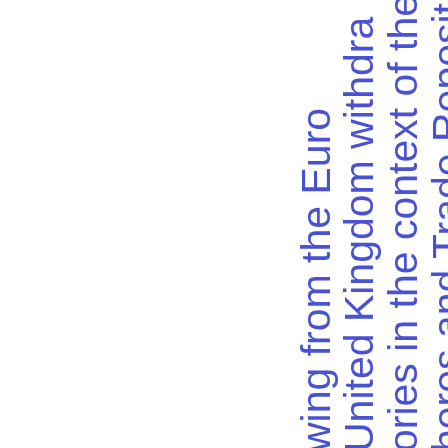heres and Trade Repositories in the context of the United Kingdom withdrawing from the Euro